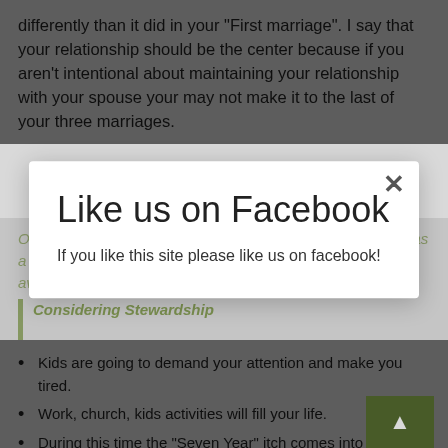differently than it did in your "First marriage". I say that your relationship should be the center because if you aren't intentional about maintaining your relationship with your spouse your may not make it to the last of your three marriages.
Of course... and God bless you, I have no idea how you... has a great marriage like this, to write something on that but haven't heard back from him yet.
Considering Stewardship
Trouble Spots:
[Figure (screenshot): Like us on Facebook modal popup overlay with title 'Like us on Facebook' and text 'If you like this site please like us on facebook!']
Kids are going to demand your attention and make you tired.
Work, church, kids activities will fill your life.
During this time the "Seven Year" itch comes into play... infatuation you feel can wane and you need to be...